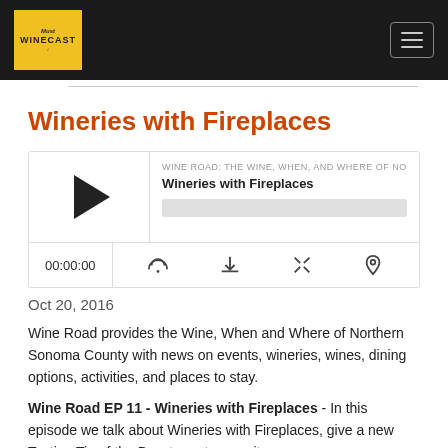WineCast - header bar with logo and hamburger menu
Wineries with Fireplaces
[Figure (screenshot): Audio player widget showing podcast 'WINE ROAD: THE WINE, WHEN, AND WHERE OF NORTHERN SO...' episode 'Wineries with Fireplaces' with play button, progress bar, time display 00:00:00, and control icons (RSS, download, embed, share)]
Oct 20, 2016
Wine Road provides the Wine, When and Where of Northern Sonoma County with news on events, wineries, wines, dining options, activities, and places to stay.
Wine Road EP 11 - Wineries with Fireplaces - In this episode we talk about Wineries with Fireplaces, give a new Tasting Tip of the Day, try out a new item- some...
Read More